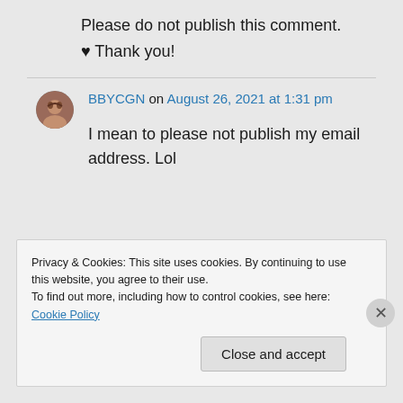Please do not publish this comment.
♥ Thank you!
BBYCGN on August 26, 2021 at 1:31 pm
I mean to please not publish my email address. Lol
Privacy & Cookies: This site uses cookies. By continuing to use this website, you agree to their use. To find out more, including how to control cookies, see here: Cookie Policy